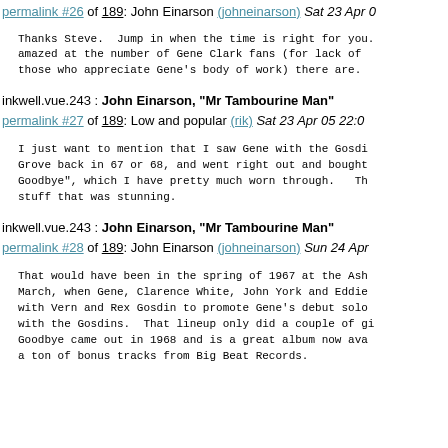permalink #26 of 189: John Einarson (johneinarson) Sat 23 Apr 0
Thanks Steve. Jump in when the time is right for you. amazed at the number of Gene Clark fans (for lack of those who appreciate Gene's body of work) there are.
inkwell.vue.243 : John Einarson, "Mr Tambourine Man"
permalink #27 of 189: Low and popular (rik) Sat 23 Apr 05 22:0
I just want to mention that I saw Gene with the Gosdi Grove back in 67 or 68, and went right out and bought Goodbye", which I have pretty much worn through.  Th stuff that was stunning.
inkwell.vue.243 : John Einarson, "Mr Tambourine Man"
permalink #28 of 189: John Einarson (johneinarson) Sun 24 Apr
That would have been in the spring of 1967 at the Ash March, when Gene, Clarence White, John York and Eddie with Vern and Rex Gosdin to promote Gene's debut solo with the Gosdins. That lineup only did a couple of gi Goodbye came out in 1968 and is a great album now ava a ton of bonus tracks from Big Beat Records.